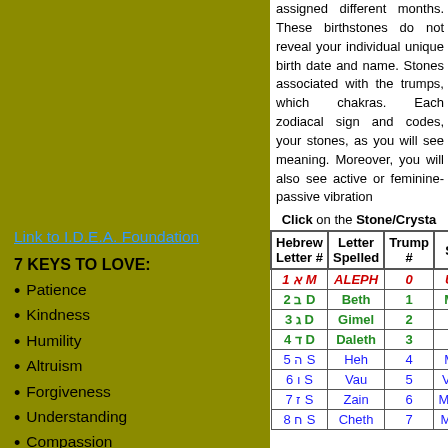assigned different months. These birthstones do not reveal your individual unique birth date and name. Stones associated with the trumps, which chakras. Each zodiacal sign and codes, your stones, as you will see meaning. Moreover, you will also see active or feminine-passive vibration
Link to I.D.E.A. Foundation
7 KEYS TO LOVE:
Patience
Kindness
Humility
Altruism
Forgiveness
Understanding
Compassion
7 POINTS TO TRUTH:
Objectivity
Discernment
Impartiality
Honesty
Curiosity
Awareness
Click on the Stone/Crystal
| Hebrew Letter # | Letter Spelled | Trump # | S |
| --- | --- | --- | --- |
| 1 א M | ALEPH | 0 | U |
| 2 ב D | Beth | 1 | M |
| 3 ג D | Gimel | 2 |  |
| 4 ד D | Daleth | 3 |  |
| 5 ה S | Heh | 4 | M |
| 6 ו S | Vau | 5 | Ve |
| 7 ז S | Zain | 6 | Mer |
| 8 ח S | Cheth | 7 | Mo |